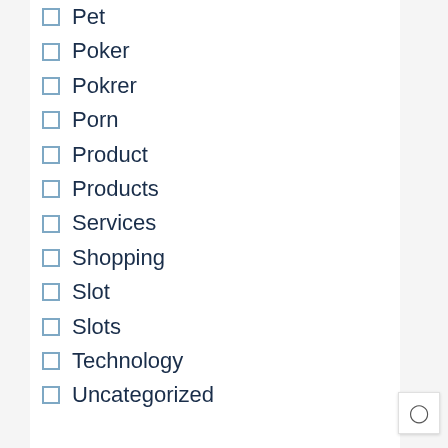Pet
Poker
Pokrer
Porn
Product
Products
Services
Shopping
Slot
Slots
Technology
Uncategorized